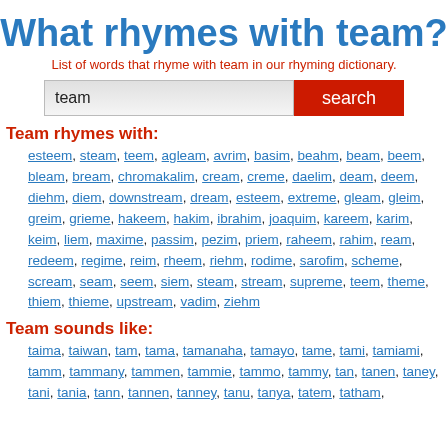What rhymes with team?
List of words that rhyme with team in our rhyming dictionary.
Team rhymes with:
esteem, steam, teem, agleam, avrim, basim, beahm, beam, beem, bleam, bream, chromakalim, cream, creme, daelim, deam, deem, diehm, diem, downstream, dream, esteem, extreme, gleam, gleim, greim, grieme, hakeem, hakim, ibrahim, joaquim, kareem, karim, keim, liem, maxime, passim, pezim, priem, raheem, rahim, ream, redeem, regime, reim, rheem, riehm, rodime, sarofim, scheme, scream, seam, seem, siem, steam, stream, supreme, teem, theme, thiem, thieme, upstream, vadim, ziehm
Team sounds like:
taima, taiwan, tam, tama, tamanaha, tamayo, tame, tami, tamiami, tamm, tammany, tammen, tammie, tammo, tammy, tan, tanen, taney, tani, tania, tann, tannen, tanney, tanu, tanya, tatem, tatham,